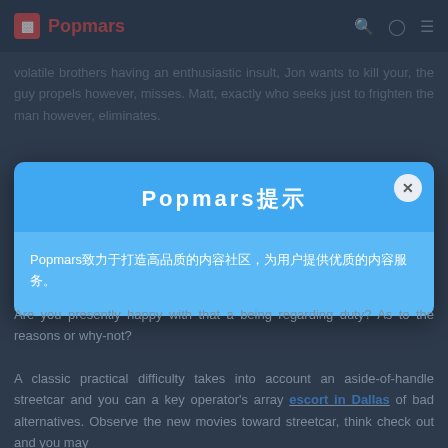Popmars
volatile brothers having an enthusiastic insult, Jon wants to kill your, the guy propels however, misses. Matt, exactly who seeks just to frighten the man however, eliminates.
Popmars提示
Popmars致力于打造高品质的内容社区,为用户提供优质的内容服务。
Are you presently happy with that a being regarding duty? As to the reasons or why-not?
A classic practical difficulty takes into account an aside-of-handle streetcar and you can a key operator's array escort in Dallas of bad alternatives. Observe the new movies toward streetcar, think check out and you may